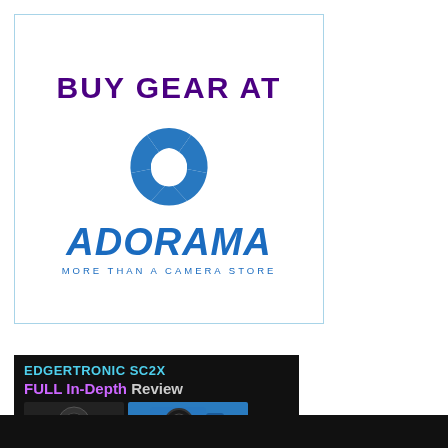[Figure (logo): Adorama camera store advertisement logo. Blue bordered box with 'BUY GEAR AT' in bold purple text, Adorama camera aperture logo in blue, ADORAMA wordmark in blue block letters, and tagline 'MORE THAN A CAMERA STORE' in blue.]
[Figure (screenshot): Thumbnail of Edgertronic SC2X Full In-Depth Review video. Dark background with cyan text 'EDGERTRONIC SC2X' and purple/white text 'FULL In-Depth Review'. Shows two camera images below.]